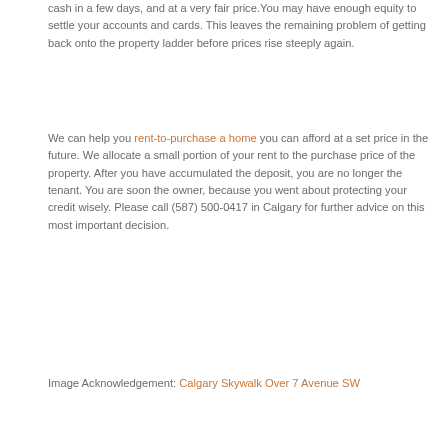cash in a few days, and at a very fair price.You may have enough equity to settle your accounts and cards. This leaves the remaining problem of getting back onto the property ladder before prices rise steeply again.
We can help you rent-to-purchase a home you can afford at a set price in the future. We allocate a small portion of your rent to the purchase price of the property. After you have accumulated the deposit, you are no longer the tenant. You are soon the owner, because you went about protecting your credit wisely. Please call (587) 500-0417 in Calgary for further advice on this most important decision.
Image Acknowledgement: Calgary Skywalk Over 7 Avenue SW